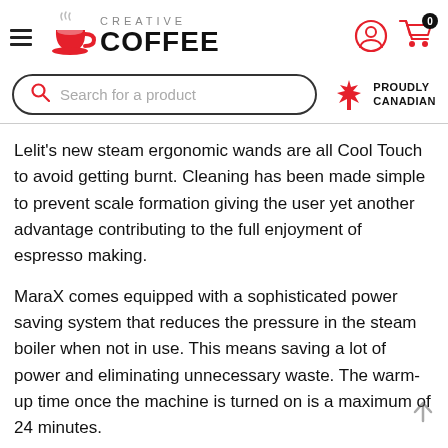[Figure (logo): Creative Coffee logo with hamburger menu, red coffee cup icon, CREATIVE text above COFFEE in bold black, user and cart icons on the right]
[Figure (screenshot): Search bar with rounded border saying 'Search for a product', red maple leaf with 'PROUDLY CANADIAN' text]
Lelit's new steam ergonomic wands are all Cool Touch to avoid getting burnt. Cleaning has been made simple to prevent scale formation giving the user yet another advantage contributing to the full enjoyment of espresso making.
MaraX comes equipped with a sophisticated power saving system that reduces the pressure in the steam boiler when not in use. This means saving a lot of power and eliminating unnecessary waste. The warm-up time once the machine is turned on is a maximum of 24 minutes.